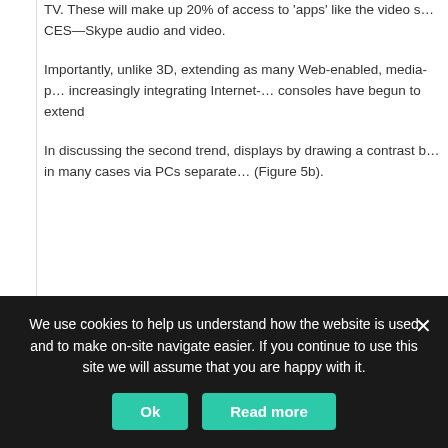TV. These will make up 20% of access to 'apps' like the video s... CES—Skype audio and video.
Importantly, unlike 3D, extending as many Web-enabled, media-p... increasingly integrating Internet-... consoles have begun to extend
In discussing the second trend, displays by drawing a contrast b... in many cases via PCs separate... (Figure 5b).
We use cookies to help us understand how the website is used and to make on-site navigate easier. If you continue to use this site we will assume that you are happy with it.